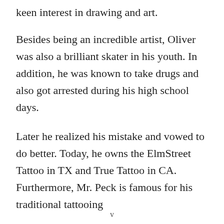keen interest in drawing and art.
Besides being an incredible artist, Oliver was also a brilliant skater in his youth. In addition, he was known to take drugs and also got arrested during his high school days.
Later he realized his mistake and vowed to do better. Today, he owns the ElmStreet Tattoo in TX and True Tattoo in CA. Furthermore, Mr. Peck is famous for his traditional tattooing
v